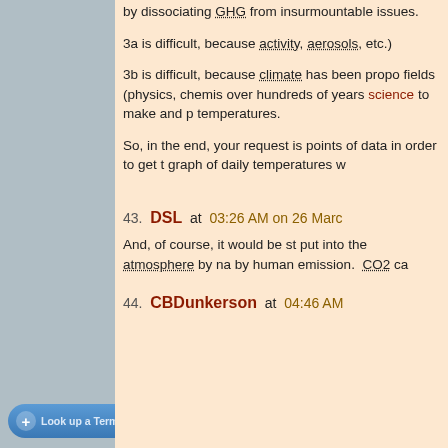by dissociating GHG from insurmountable issues.
3a is difficult, because activity, aerosols, etc.)
3b is difficult, because climate has been proposed fields (physics, chemistry) over hundreds of years science to make and predict temperatures.
So, in the end, your request is points of data in order to get the graph of daily temperatures w
43. DSL at 03:26 AM on 26 March
And, of course, it would be strange put into the atmosphere by nature by human emission. CO2 ca
44. CBDunkerson at 04:46 AM
Look up a Term